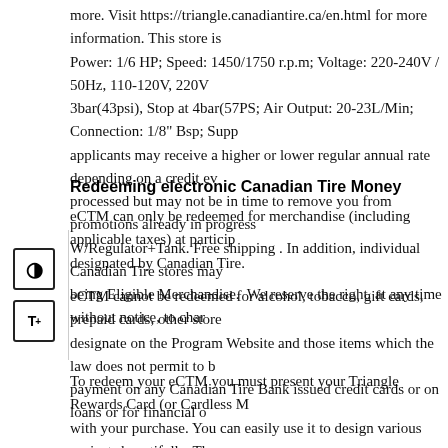more. Visit https://triangle.canadiantire.ca/en.html for more information. This store is Power: 1/6 HP; Speed: 1450/1750 r.p.m; Voltage: 220-240V / 50Hz, 110-120V, 220V 3bar(43psi), Stop at 4bar(57PS; Air Output: 20-23L/Min; Connection: 1/8" Bsp; Supp applicants may receive a higher or lower regular annual rate depending on a credit ev processed but may not be in time to remove you from promotions already in progress W/Regulator+Tank. Free shipping . In addition, individual Canadian Tire stores may being Eligible Merchandise.  We reserve the right, at any time without notice, to char
Redeeming electronic Canadian Tire Money
eCTM can only be redeemed for merchandise (including applicable taxes) at particip designated by Canadian Tire.
eCTM cannot be redeemed for alcohol, tobacco, gift cards, prepaid cards, other store designate on the Program Website and those items which the law does not permit to b payment on any Canadian Tire Bank issued credit cards or on loans or for financial o
To redeem your eCTM you must present your Triangle Rewards Card (or Cardless M with your purchase. You can easily use it to design various projects beautifully. The s and is the perfect size for traveling projects. Airbrush Systems Hobby Craft Intermed